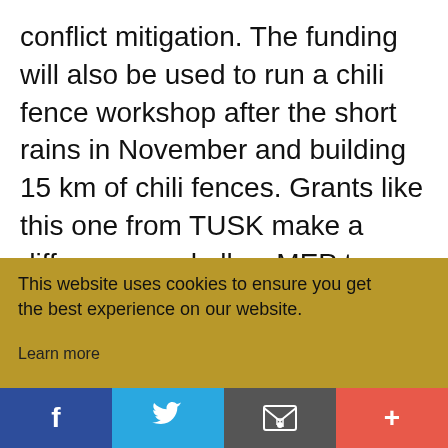conflict mitigation. The funding will also be used to run a chili fence workshop after the short rains in November and building 15 km of chili fences. Grants like this one from TUSK make a difference and allow MEP to protect elephants and the communities that live alongside them
This website uses cookies to ensure you get the best experience on our website.
Learn more
Got it!
[Figure (screenshot): Social media sharing bar with Facebook (blue), Twitter (light blue), email/envelope (gray), and plus/more (red-orange) buttons]